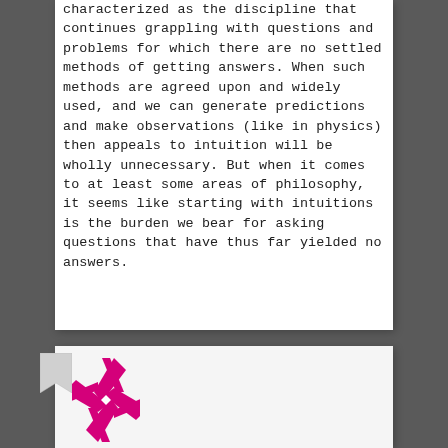characterized as the discipline that continues grappling with questions and problems for which there are no settled methods of getting answers. When such methods are agreed upon and widely used, and we can generate predictions and make observations (like in physics) then appeals to intuition will be wholly unnecessary. But when it comes to at least some areas of philosophy, it seems like starting with intuitions is the burden we bear for asking questions that have thus far yielded no answers.
[Figure (logo): A pink/magenta geometric pinwheel or starburst logo on a white background]